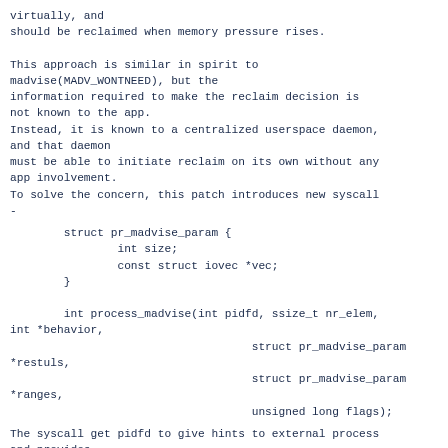virtually, and
should be reclaimed when memory pressure rises.

This approach is similar in spirit to
madvise(MADV_WONTNEED), but the
information required to make the reclaim decision is
not known to the app.
Instead, it is known to a centralized userspace daemon,
and that daemon
must be able to initiate reclaim on its own without any
app involvement.
To solve the concern, this patch introduces new syscall
-
The syscall get pidfd to give hints to external process
and provides
pair of result/ranges vector arguments so that it could
give several